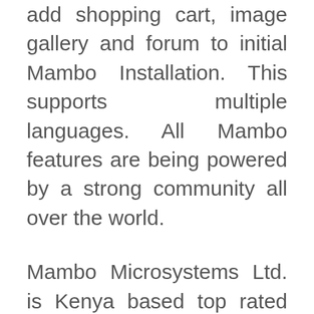add shopping cart, image gallery and forum to initial Mambo Installation. This supports multiple languages. All Mambo features are being powered by a strong community all over the world.
Mambo Microsystems Ltd. is Kenya based top rated web hosting company which offers variety of web solutions. Mambo services include Cloud Hosting, VPS, Dedicated hosting, Reseller hosting and Shared Hosting.